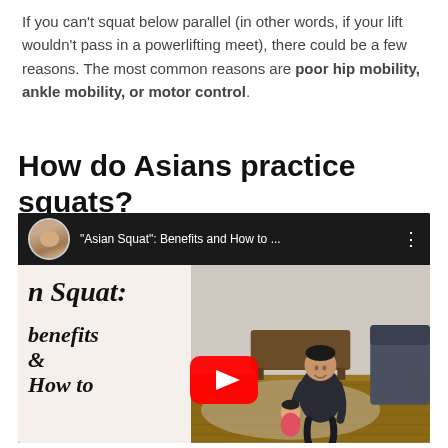If you can't squat below parallel (in other words, if your lift wouldn't pass in a powerlifting meet), there could be a few reasons. The most common reasons are poor hip mobility, ankle mobility, or motor control.
How do Asians practice squats?
[Figure (screenshot): YouTube video embed showing a video titled 'Asian Squat: Benefits and How to ...' with a YouTube play button overlay. The thumbnail shows text on the left reading 'an Squat: benefits & How to' in serif italic style, and on the right a man squatting with a child in a living room setting.]